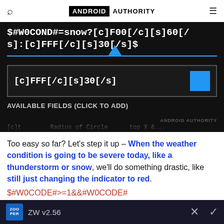ANDROID AUTHORITY
[Figure (screenshot): Android app screenshot showing a widget formula editor with code '$#W0COND#=snow?[c]F00[/c][s]60[/s]:[c]FFF[/c][s]30[/s]$' at top, a text input field showing '[c]FFF[/c][s]30[/s]' with a blue cursor/square, and 'AVAILABLE FIELDS (CLICK TO ADD)' label. An 'ANDROID AUTHORITY' watermark is visible.]
Too easy so far? Let's step it up – When the weather condition is going to be severe today, like a thunderstorm or snow, we'll do something drastic, like still just changing the indicator to red. $#W0CODE#>=1&&#W0CODE#<3||#W0CODE#=8?[c]F00[/c]:[c]FFF[/c]$
ZW v2.56